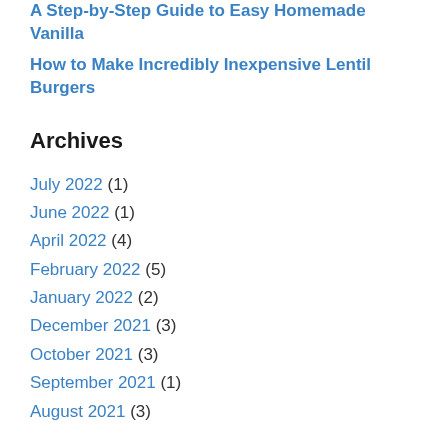A Step-by-Step Guide to Easy Homemade Vanilla
How to Make Incredibly Inexpensive Lentil Burgers
Archives
July 2022 (1)
June 2022 (1)
April 2022 (4)
February 2022 (5)
January 2022 (2)
December 2021 (3)
October 2021 (3)
September 2021 (1)
August 2021 (3)